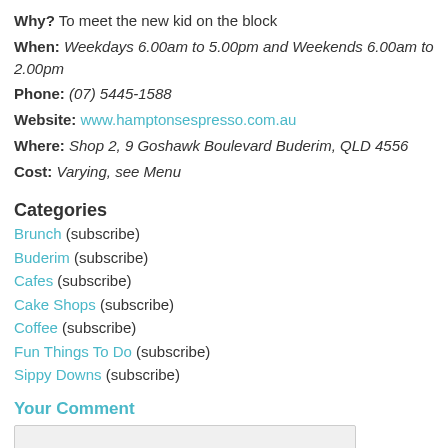Why? To meet the new kid on the block
When: Weekdays 6.00am to 5.00pm and Weekends 6.00am to 2.00pm
Phone: (07) 5445-1588
Website: www.hamptonsespresso.com.au
Where: Shop 2, 9 Goshawk Boulevard Buderim, QLD 4556
Cost: Varying, see Menu
Categories
Brunch (subscribe)
Buderim (subscribe)
Cafes (subscribe)
Cake Shops (subscribe)
Coffee (subscribe)
Fun Things To Do (subscribe)
Sippy Downs (subscribe)
Your Comment